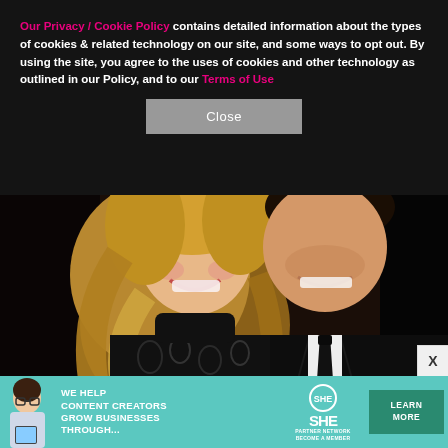Our Privacy / Cookie Policy contains detailed information about the types of cookies & related technology on our site, and some ways to opt out. By using the site, you agree to the uses of cookies and other technology as outlined in our Policy, and to our Terms of Use
Close
[Figure (photo): A smiling blonde woman in a black patterned dress poses with a smiling man in a dark suit and black tie]
[Figure (infographic): Advertisement banner for SHE Partner Network: WE HELP CONTENT CREATORS GROW BUSINESSES THROUGH... LEARN MORE BECOME A MEMBER]